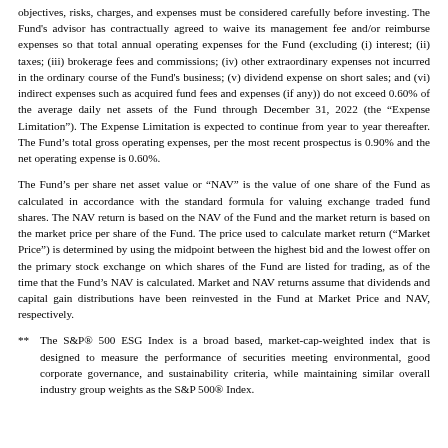objectives, risks, charges, and expenses must be considered carefully before investing. The Fund's advisor has contractually agreed to waive its management fee and/or reimburse expenses so that total annual operating expenses for the Fund (excluding (i) interest; (ii) taxes; (iii) brokerage fees and commissions; (iv) other extraordinary expenses not incurred in the ordinary course of the Fund's business; (v) dividend expense on short sales; and (vi) indirect expenses such as acquired fund fees and expenses (if any)) do not exceed 0.60% of the average daily net assets of the Fund through December 31, 2022 (the "Expense Limitation"). The Expense Limitation is expected to continue from year to year thereafter. The Fund's total gross operating expenses, per the most recent prospectus is 0.90% and the net operating expense is 0.60%.
The Fund's per share net asset value or "NAV" is the value of one share of the Fund as calculated in accordance with the standard formula for valuing exchange traded fund shares. The NAV return is based on the NAV of the Fund and the market return is based on the market price per share of the Fund. The price used to calculate market return ("Market Price") is determined by using the midpoint between the highest bid and the lowest offer on the primary stock exchange on which shares of the Fund are listed for trading, as of the time that the Fund's NAV is calculated. Market and NAV returns assume that dividends and capital gain distributions have been reinvested in the Fund at Market Price and NAV, respectively.
** The S&P® 500 ESG Index is a broad based, market-cap-weighted index that is designed to measure the performance of securities meeting environmental, good corporate governance, and sustainability criteria, while maintaining similar overall industry group weights as the S&P 500® Index.